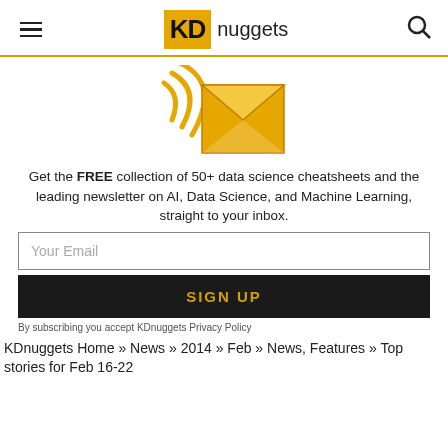KDnuggets
[Figure (illustration): Golden envelope with wifi/signal waves, KDnuggets newsletter icon]
Get the FREE collection of 50+ data science cheatsheets and the leading newsletter on AI, Data Science, and Machine Learning, straight to your inbox.
Your Email
SIGN UP
By subscribing you accept KDnuggets Privacy Policy
KDnuggets Home » News » 2014 » Feb » News, Features » Top stories for Feb 16-22